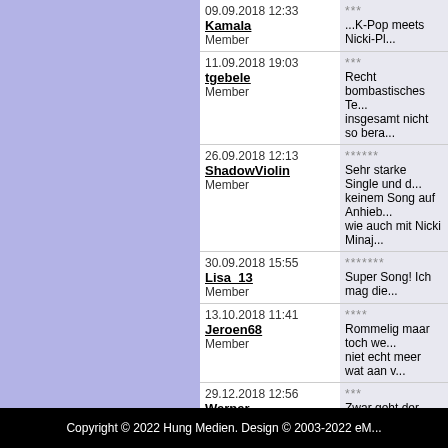| User/Date | Rating | Review |
| --- | --- | --- |
| 09.09.2018 12:33
Kamala
Member | *** | ...K-Pop meets Nicki-Pl... |
| 11.09.2018 19:03
tgebele
Member | *** | Recht bombastisches Te... insgesamt nicht so bera... |
| 26.09.2018 12:13
ShadowViolin
Member | ****** | Sehr starke Single und... keinem Song auf Anhieb... wie auch mit Nicki Mina... |
| 30.09.2018 15:55
Lisa_13
Member | ******* | Super Song! Ich mag die... |
| 13.10.2018 11:41
Jeroen68
Member | **** | Rommelig maar toch we... niet echt meer wat aan v... |
| 29.12.2018 12:56
Werner
Member | *** | Zwar geht der Song rich... |
| 28.07.2019 13:49
Rewer
hitparade.ch | *** | ...weniger... |
| 12.01.2020 11:49
Pacadi
Member | *** | naja |
| 02.09.2020 08:15
MoTHj91
Member | ******* | Geiles Lied! |
Add a review
Copyright © 2022 Hung Medien. Design © 2003-2022 eM...